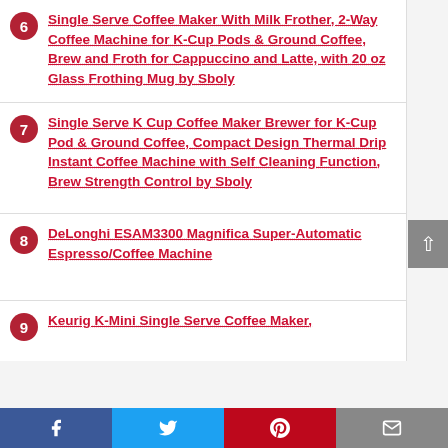6 Single Serve Coffee Maker With Milk Frother, 2-Way Coffee Machine for K-Cup Pods & Ground Coffee, Brew and Froth for Cappuccino and Latte, with 20 oz Glass Frothing Mug by Sboly
7 Single Serve K Cup Coffee Maker Brewer for K-Cup Pod & Ground Coffee, Compact Design Thermal Drip Instant Coffee Machine with Self Cleaning Function, Brew Strength Control by Sboly
8 DeLonghi ESAM3300 Magnifica Super-Automatic Espresso/Coffee Machine
9 Keurig K-Mini Single Serve Coffee Maker,